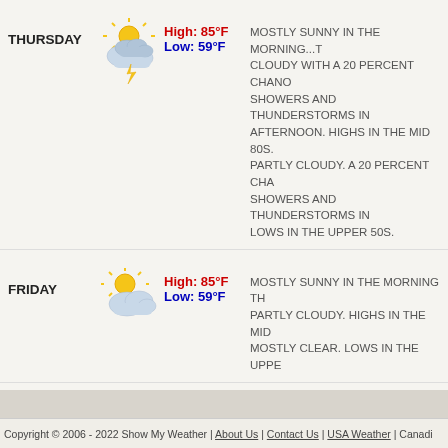THURSDAY — High: 85°F, Low: 59°F — MOSTLY SUNNY IN THE MORNING...T CLOUDY WITH A 20 PERCENT CHANO SHOWERS AND THUNDERSTORMS IN AFTERNOON. HIGHS IN THE MID 80S. PARTLY CLOUDY. A 20 PERCENT CHA SHOWERS AND THUNDERSTORMS IN LOWS IN THE UPPER 50S.
FRIDAY — High: 85°F, Low: 59°F — MOSTLY SUNNY IN THE MORNING TH PARTLY CLOUDY. HIGHS IN THE MID MOSTLY CLEAR. LOWS IN THE UPPE
SATURDAY — High: 81°F, Low: 55°F — MOSTLY SUNNY. HIGHS IN THE LOWE OVERNIGHT: PARTLY CLOUDY IN THE CLEARING. LOWS IN THE MID 50S.
Copyright © 2006 - 2022 Show My Weather | About Us | Contact Us | USA Weather | Canadi